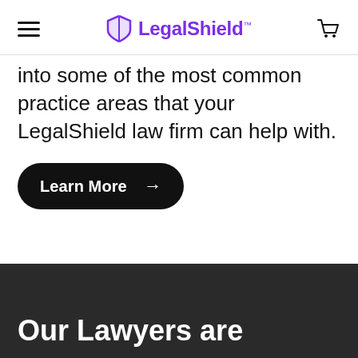LegalShield
into some of the most common practice areas that your LegalShield law firm can help with.
Learn More →
Our Lawyers are